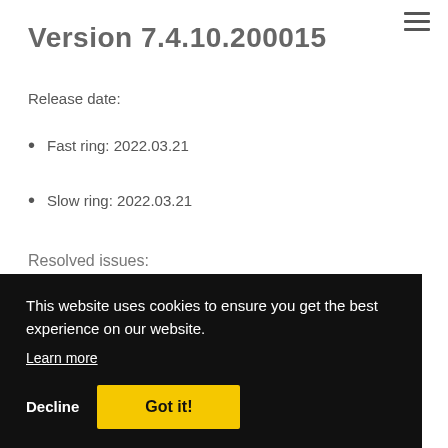☰
Version 7.4.10.200015
Release date:
Fast ring: 2022.03.21
Slow ring: 2022.03.21
Resolved issues:
This website uses cookies to ensure you get the best experience on our website.
Learn more
Decline  Got it!
Version 7.4.10.200015